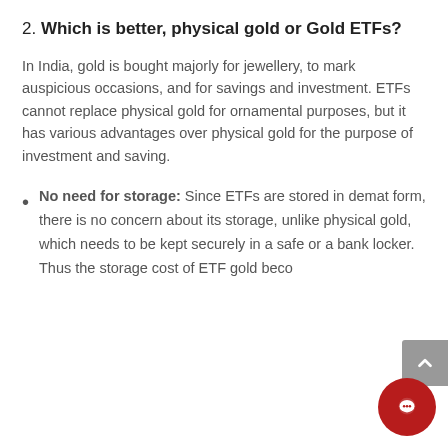2. Which is better, physical gold or Gold ETFs?
In India, gold is bought majorly for jewellery, to mark auspicious occasions, and for savings and investment. ETFs cannot replace physical gold for ornamental purposes, but it has various advantages over physical gold for the purpose of investment and saving.
No need for storage: Since ETFs are stored in demat form, there is no concern about its storage, unlike physical gold, which needs to be kept securely in a safe or a bank locker. Thus the storage cost of ETF gold beco...